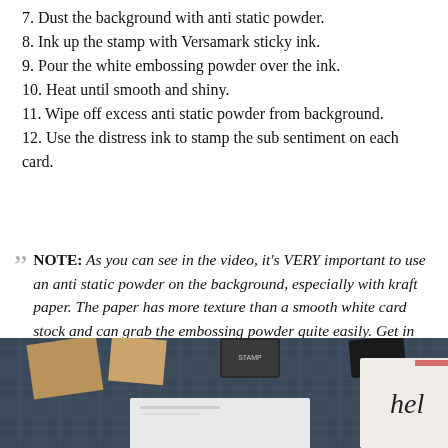7. Dust the background with anti static powder.
8. Ink up the stamp with Versamark sticky ink.
9. Pour the white embossing powder over the ink.
10. Heat until smooth and shiny.
11. Wipe off excess anti static powder from background.
12. Use the distress ink to stamp the sub sentiment on each card.
NOTE: As you can see in the video, it's VERY important to use an anti static powder on the background, especially with kraft paper. The paper has more texture than a smooth white card stock and can grab the embossing powder quite easily. Get in the habit of using it EVERY SINGLE TIME you heat emboss.
[Figure (photo): Photo of crafting supplies on a cutting mat including stamps, kraft paper, and a card with handwriting.]